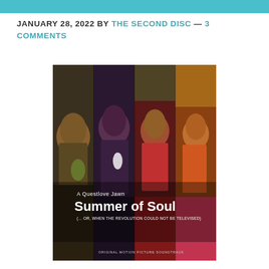JANUARY 28, 2022 BY THE SECOND DISC — 3 COMMENTS
[Figure (photo): Album cover for 'Summer of Soul (...Or, When the Revolution Could Not Be Televised)' - A Questlove Jawn. Original Motion Picture Soundtrack. Shows four panels of performers at a concert, blurred/colored.]